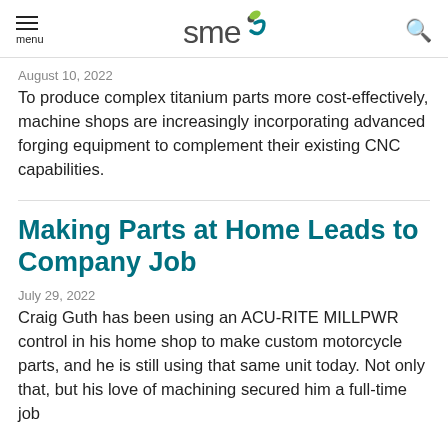menu | SME logo | search
August 10, 2022
To produce complex titanium parts more cost-effectively, machine shops are increasingly incorporating advanced forging equipment to complement their existing CNC capabilities.
Making Parts at Home Leads to Company Job
July 29, 2022
Craig Guth has been using an ACU-RITE MILLPWR control in his home shop to make custom motorcycle parts, and he is still using that same unit today. Not only that, but his love of machining secured him a full-time job